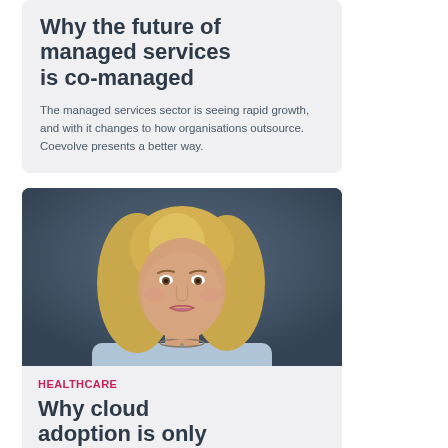Why the future of managed services is co-managed
The managed services sector is seeing rapid growth, and with it changes to how organisations outsource. Coevolve presents a better way.
[Figure (photo): Professional headshot of a woman with blonde hair wearing a light blue blazer, photographed against a dark grey background.]
HEALTHCARE
Why cloud adoption is only